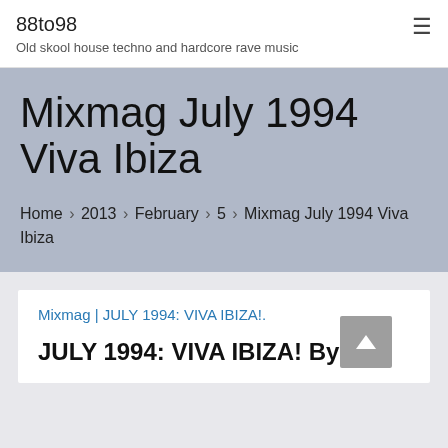88to98
Old skool house techno and hardcore rave music
Mixmag July 1994 Viva Ibiza
Home › 2013 › February › 5 › Mixmag July 1994 Viva Ibiza
Mixmag | JULY 1994: VIVA IBIZA!.
JULY 1994: VIVA IBIZA! By